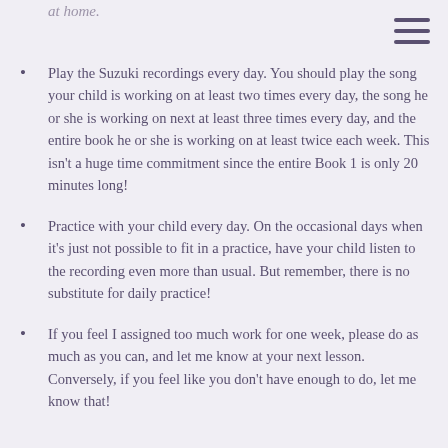at home.
Play the Suzuki recordings every day. You should play the song your child is working on at least two times every day, the song he or she is working on next at least three times every day, and the entire book he or she is working on at least twice each week. This isn't a huge time commitment since the entire Book 1 is only 20 minutes long!
Practice with your child every day. On the occasional days when it's just not possible to fit in a practice, have your child listen to the recording even more than usual. But remember, there is no substitute for daily practice!
If you feel I assigned too much work for one week, please do as much as you can, and let me know at your next lesson. Conversely, if you feel like you don't have enough to do, let me know that!